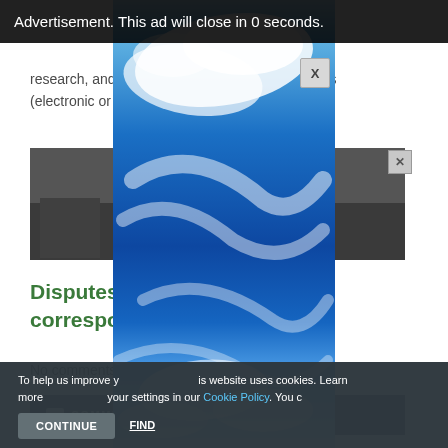Advertisement. This ad will close in 0 seconds.
research, and educational use.  Distribut copies (electronic or o t allowed.
[Figure (photo): Advertisement image showing dark landscape/scenery]
Disputes & D correspondence
No comments h rticle.
COMMENT
To help us improve y is website uses cookies. Learn more your settings in our Cookie Policy. You c
CONTINUE    FIND
[Figure (photo): Ad overlay showing blue sky with swirling clouds, tall vertical format]